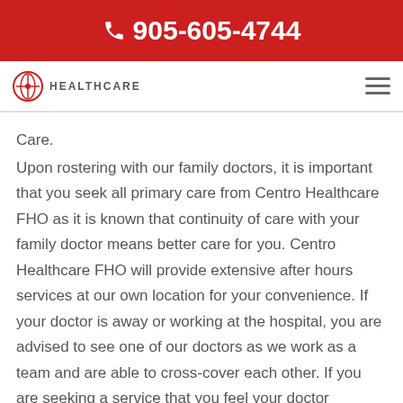905-605-4744
[Figure (logo): Centro Healthcare logo with caduceus symbol and HEALTHCARE text, plus hamburger menu icon]
Care.
Upon rostering with our family doctors, it is important that you seek all primary care from Centro Healthcare FHO as it is known that continuity of care with your family doctor means better care for you. Centro Healthcare FHO will provide extensive after hours services at our own location for your convenience. If your doctor is away or working at the hospital, you are advised to see one of our doctors as we work as a team and are able to cross-cover each other. If you are seeking a service that you feel your doctor